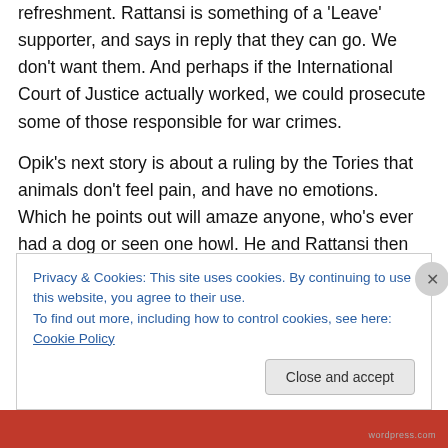refreshment. Rattansi is something of a 'Leave' supporter, and says in reply that they can go. We don't want them. And perhaps if the International Court of Justice actually worked, we could prosecute some of those responsible for war crimes.
Opik's next story is about a ruling by the Tories that animals don't feel pain, and have no emotions. Which he points out will amaze anyone, who's ever had a dog or seen one howl. He and Rattansi then comment about how this is all about the Tories trying to make it easier for themselves to go fox hunting, and for Trump and his
Privacy & Cookies: This site uses cookies. By continuing to use this website, you agree to their use.
To find out more, including how to control cookies, see here: Cookie Policy